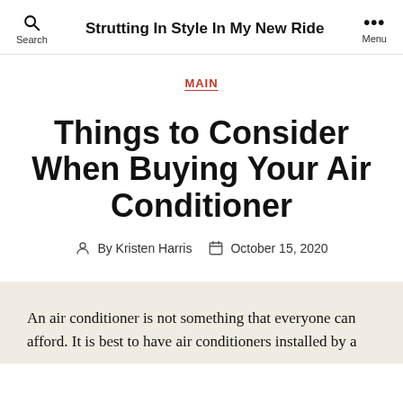Strutting In Style In My New Ride
MAIN
Things to Consider When Buying Your Air Conditioner
By Kristen Harris  October 15, 2020
An air conditioner is not something that everyone can afford. It is best to have air conditioners installed by a